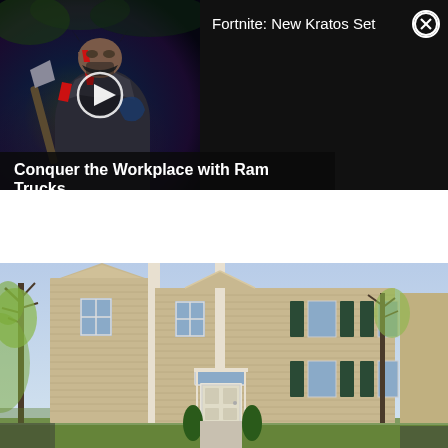[Figure (screenshot): Video thumbnail showing Kratos character from Fortnite/God of War crossover, dark fantasy game scene with play button overlay]
Fortnite: New Kratos Set
[Figure (other): Close (X) button circle icon]
Conquer the Workplace with Ram Trucks
[Figure (photo): Exterior photo of a two-story beige/tan vinyl siding colonial style house with white trim, shutters, front door, and bare trees in yard]